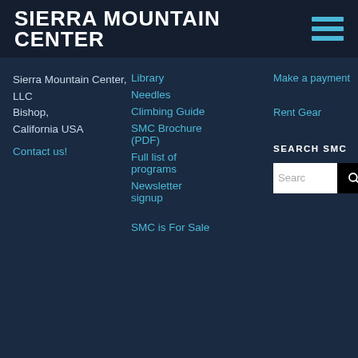SIERRA MOUNTAIN CENTER
Sierra Mountain Center, LLC
Bishop, California USA
Contact us!
Library
Needles
Climbing Guide
SMC Brochure (PDF)
Full list of programs
Newsletter signup
SMC is For Sale
Make a payment
Rent Gear
SEARCH SMC